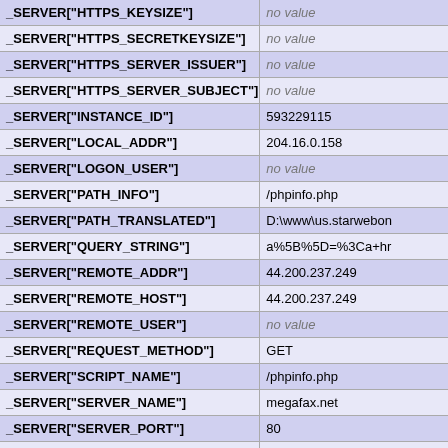| Key | Value |
| --- | --- |
| _SERVER["HTTPS_KEYSIZE"] | no value |
| _SERVER["HTTPS_SECRETKEYSIZE"] | no value |
| _SERVER["HTTPS_SERVER_ISSUER"] | no value |
| _SERVER["HTTPS_SERVER_SUBJECT"] | no value |
| _SERVER["INSTANCE_ID"] | 593229115 |
| _SERVER["LOCAL_ADDR"] | 204.16.0.158 |
| _SERVER["LOGON_USER"] | no value |
| _SERVER["PATH_INFO"] | /phpinfo.php |
| _SERVER["PATH_TRANSLATED"] | D:\www\us.starwebon |
| _SERVER["QUERY_STRING"] | a%5B%5D=%3Ca+hr |
| _SERVER["REMOTE_ADDR"] | 44.200.237.249 |
| _SERVER["REMOTE_HOST"] | 44.200.237.249 |
| _SERVER["REMOTE_USER"] | no value |
| _SERVER["REQUEST_METHOD"] | GET |
| _SERVER["SCRIPT_NAME"] | /phpinfo.php |
| _SERVER["SERVER_NAME"] | megafax.net |
| _SERVER["SERVER_PORT"] | 80 |
| _SERVER["SERVER_PORT_SECURE"] | 0 |
| _SERVER["SERVER_PROTOCOL"] | HTTP/1.1 |
| _SERVER["SERVER_SOFTWARE"] | Microsoft-IIS/6.0 |
| _SERVER["UNMAPPED_REMOTE_USER"] | no value |
| _SERVER["PHP_SELF"] | /phpinfo.php |